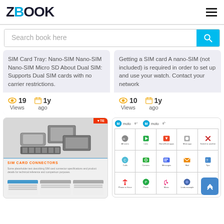ZBOOK
Search book here
SIM Card Tray: Nano-SIM Nano-SIM Nano-SIM Micro SD About Dual SIM: Supports Dual SIM cards with no carrier restrictions.
19 Views  1y ago
Getting a SIM card A nano-SIM (not included) is required in order to set up and use your watch. Contact your network
10 Views  1y ago
[Figure (screenshot): SIM card connectors product page from TE Connectivity showing SIM card tray hardware photos and product description text]
[Figure (screenshot): Moto G manual page showing app icons grid including calls, camera, messages, mail, tips and other apps]